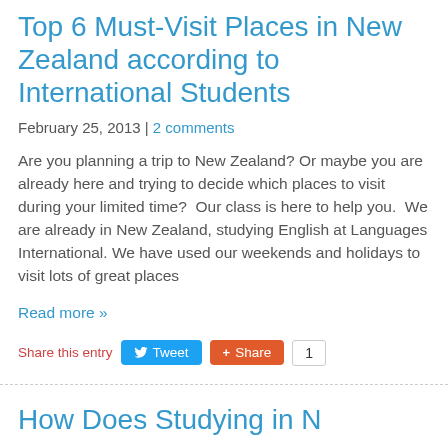Top 6 Must-Visit Places in New Zealand according to International Students
February 25, 2013 | 2 comments
Are you planning a trip to New Zealand? Or maybe you are already here and trying to decide which places to visit during your limited time?  Our class is here to help you.  We are already in New Zealand, studying English at Languages International. We have used our weekends and holidays to visit lots of great places
Read more »
Share this entry  Tweet  Share  1
How Does Studying in N...